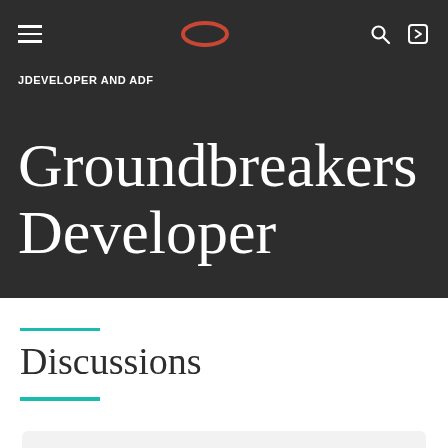JDEVELOPER AND ADF
Groundbreakers Developer
Discussions
QuickLinks